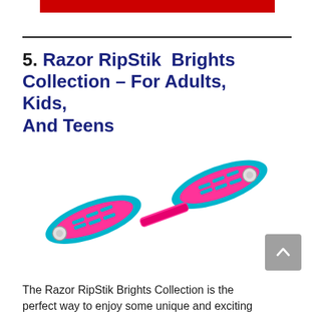[Figure (other): Red horizontal bar at top of page]
5. Razor RipStik Brights Collection – For Adults, Kids, And Teens
[Figure (photo): Pink and blue Razor RipStik Brights Collection casterboard/waveboard on white background]
The Razor RipStik Brights Collection is the perfect way to enjoy some unique and exciting